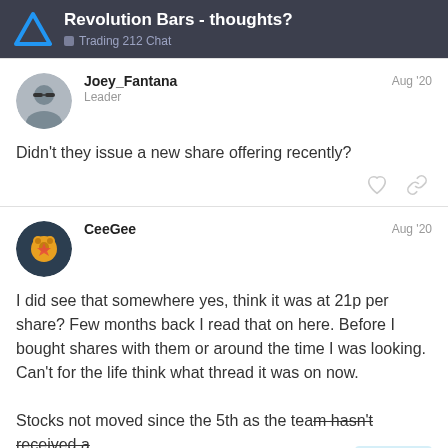Revolution Bars - thoughts? | Trading 212 Chat
Joey_Fantana
Leader
Aug '20
Didn't they issue a new share offering recently?
CeeGee
Aug '20
I did see that somewhere yes, think it was at 21p per share? Few months back I read that on here. Before I bought shares with them or around the time I was looking.
Can't for the life think what thread it was on now.
Stocks not moved since the 5th as the team hasn't received a new BUY price this week.
10 / 30